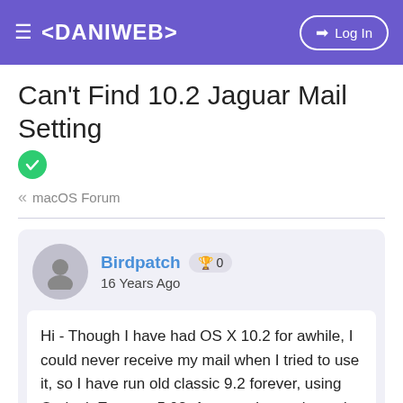≡ <DANIWEB>   ➡ Log In
Can't Find 10.2 Jaguar Mail Setting ✓
« macOS Forum
Birdpatch 🏆 0
16 Years Ago
Hi - Though I have had OS X 10.2 for awhile, I could never receive my mail when I tried to use it, so I have run old classic 9.2 forever, using Outlook Express 5.02. Anyway, I expreienced a MAJOR crash last week, so - since I lost EVERYTHING - I figured it was a good time to BEGIN using the 10.2 version.